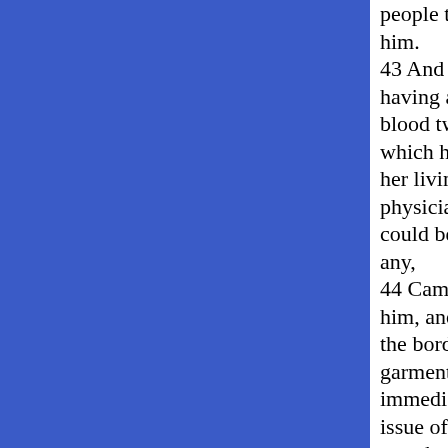people thronged him. 43 And a woman having an issue of blood twelve years, which had spent all her living upon physicians, neither could be healed of any, 44 Came behind him, and touched the border of his garment: and immediately her issue of blood stanched. 45 And Jesus said, Who touched me? When all denied, Peter and they that were with him said, Master, the